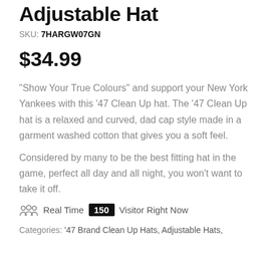Adjustable Hat
SKU: 7HARGW07GN
$34.99
“Show Your True Colours” and support your New York Yankees with this ’47 Clean Up hat. The ’47 Clean Up hat is a relaxed and curved, dad cap style made in a garment washed cotton that gives you a soft feel.
Considered by many to be the best fitting hat in the game, perfect all day and all night, you won’t want to take it off.
Real Time 150 Visitor Right Now
Categories: ’47 Brand Clean Up Hats, Adjustable Hats,